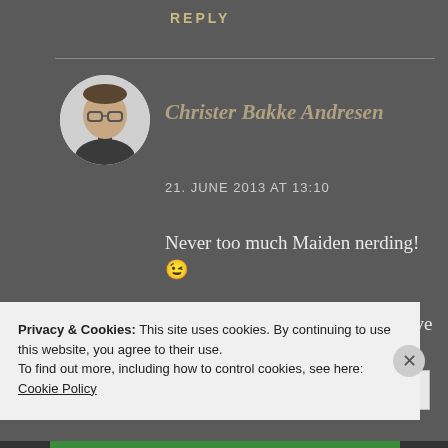REPLY
Christer Bakke Andresen
21. JUNE 2013 AT 13:10
Never too much Maiden nerding! 😉
Okay, 1 song off each album. Have your pick! Tell us! That would be one hell of a setlist discussion on the official forum! For
Privacy & Cookies: This site uses cookies. By continuing to use this website, you agree to their use.
To find out more, including how to control cookies, see here: Cookie Policy
Close and accept